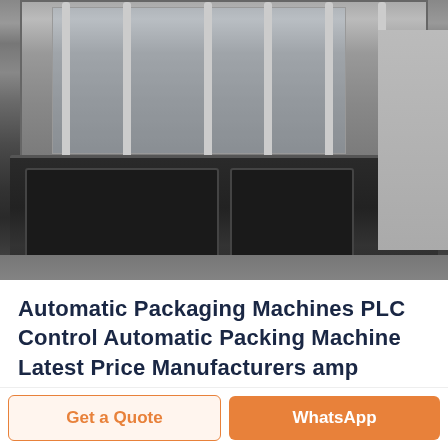[Figure (photo): Industrial automatic packaging/filling machine with stainless steel construction, vertical columns, glass panels, and dark-colored lower body/base unit photographed in a factory setting]
Automatic Packaging Machines PLC Control Automatic Packing Machine Latest Price Manufacturers amp Suppliers Business Directory India
Get a Quote
WhatsApp